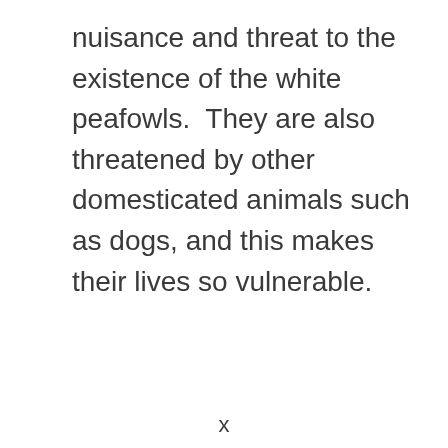nuisance and threat to the existence of the white peafowls.  They are also threatened by other domesticated animals such as dogs, and this makes their lives so vulnerable.
x